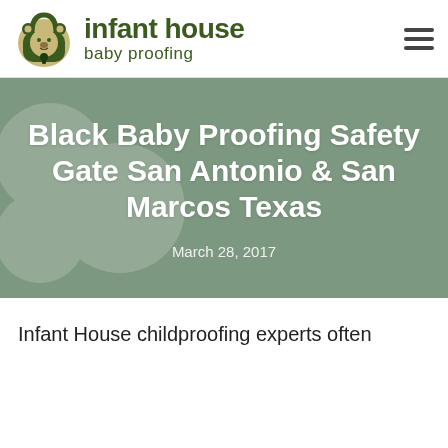[Figure (logo): Infant House Baby Proofing logo with padlock bear icon and green text]
Black Baby Proofing Safety Gate San Antonio & San Marcos Texas
March 28, 2017
Infant House childproofing experts often